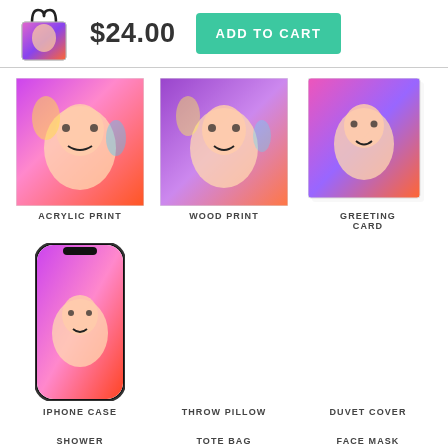[Figure (other): Tote bag product image with colorful portrait art]
$24.00
ADD TO CART
[Figure (other): Acrylic print product with colorful portrait art]
ACRYLIC PRINT
[Figure (other): Wood print product with colorful portrait art]
WOOD PRINT
[Figure (other): Greeting card product with colorful portrait art]
GREETING CARD
[Figure (other): iPhone case product with colorful portrait art]
IPHONE CASE
THROW PILLOW
DUVET COVER
SHOWER
TOTE BAG
FACE MASK